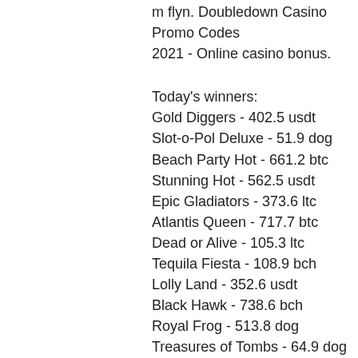m flyn. Doubledown Casino Promo Codes 2021 - Online casino bonus.
Today's winners:
Gold Diggers - 402.5 usdt
Slot-o-Pol Deluxe - 51.9 dog
Beach Party Hot - 661.2 btc
Stunning Hot - 562.5 usdt
Epic Gladiators - 373.6 ltc
Atlantis Queen - 717.7 btc
Dead or Alive - 105.3 ltc
Tequila Fiesta - 108.9 bch
Lolly Land - 352.6 usdt
Black Hawk - 738.6 bch
Royal Frog - 513.8 dog
Treasures of Tombs - 64.9 dog
Shaaark Superbet - 183.6 ltc
Fantastic Fruit - 66.6 btc
Sky Strikers - 301.7 usdt
New Games: